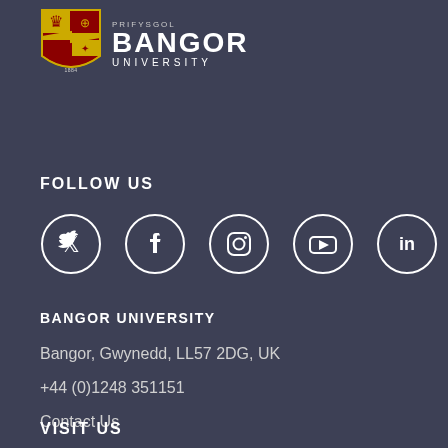[Figure (logo): Bangor University logo with shield crest and text PRIFYSGOL BANGOR UNIVERSITY]
FOLLOW US
[Figure (infographic): Five social media icons in circles: Twitter, Facebook, Instagram, YouTube, LinkedIn]
BANGOR UNIVERSITY
Bangor, Gwynedd, LL57 2DG, UK
+44 (0)1248 351151
Contact Us
VISIT US